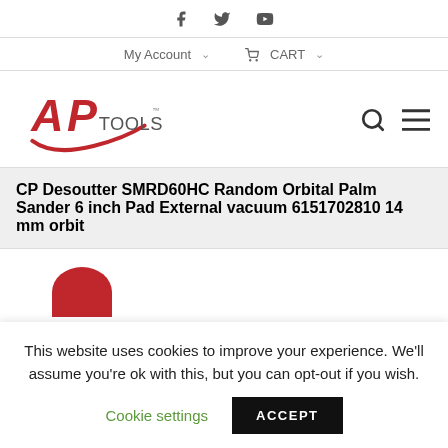Social icons: Facebook, Twitter, YouTube
My Account  CART
[Figure (logo): AP Tools logo — red AP stylized letters with TOOLS text and swoosh]
CP Desoutter SMRD60HC Random Orbital Palm Sander 6 inch Pad External vacuum 6151702810 14 mm orbit
This website uses cookies to improve your experience. We'll assume you're ok with this, but you can opt-out if you wish.
Cookie settings   ACCEPT